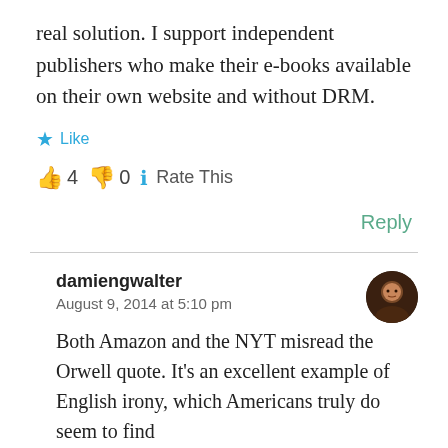real solution. I support independent publishers who make their e-books available on their own website and without DRM.
★ Like
👍 4 👎 0 ℹ Rate This
Reply
damiengwalter
August 9, 2014 at 5:10 pm
Both Amazon and the NYT misread the Orwell quote. It's an excellent example of English irony, which Americans truly do find